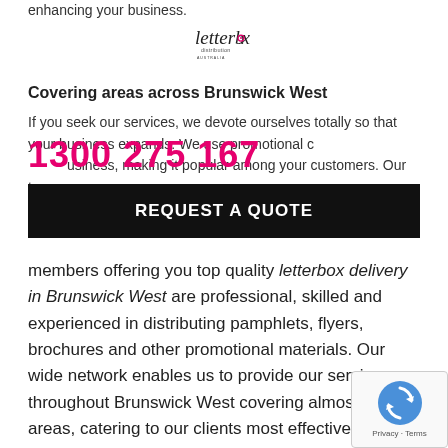enhancing your business.
[Figure (logo): Letterbox Distribution Australia logo]
Covering areas across Brunswick West
1300 275 167
REQUEST A QUOTE
If you seek our services, we devote ourselves totally so that your business expands. We use promotional c...usiness, making it popular among your customers. Our team members offering you top quality letterbox delivery in Brunswick West are professional, skilled and experienced in distributing pamphlets, flyers, brochures and other promotional materials. Our wide network enables us to provide our services throughout Brunswick West covering almost all areas, catering to our clients most effectively. We maintain a business website from where you can gather information regarding the services we offer to our clients.
[Figure (other): reCAPTCHA privacy badge]